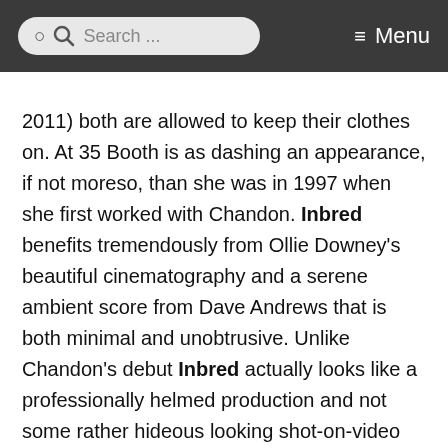Search ... Menu
2011) both are allowed to keep their clothes on. At 35 Booth is as dashing an appearance, if not moreso, than she was in 1997 when she first worked with Chandon. Inbred benefits tremendously from Ollie Downey's beautiful cinematography and a serene ambient score from Dave Andrews that is both minimal and unobtrusive. Unlike Chandon's debut Inbred actually looks like a professionally helmed production and not some rather hideous looking shot-on-video experiment in bloody special effects work. At this point we're genuinely interested where Chandon moves from here. If history is any indication, his next feature should arrive in 2021. We can only hope....